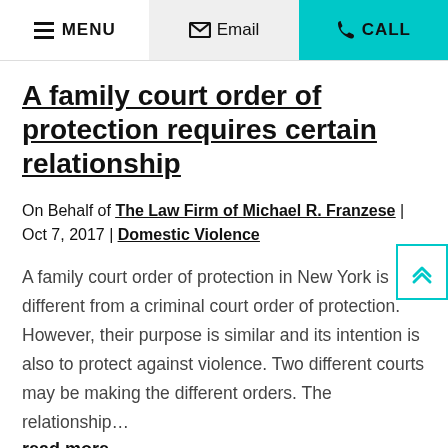MENU | Email | CALL
A family court order of protection requires certain relationship
On Behalf of The Law Firm of Michael R. Franzese | Oct 7, 2017 | Domestic Violence
A family court order of protection in New York is different from a criminal court order of protection. However, their purpose is similar and its intention is also to protect against violence. Two different courts may be making the different orders. The relationship…
read more